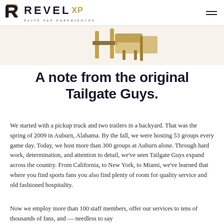REVEL XP — ELITE FAN EXPERIENCES
[Figure (illustration): Partial illustration of tailgating equipment (chairs/cooler) in tan/gold tones on a light background, partially cropped at top of page]
A note from the original Tailgate Guys.
We started with a pickup truck and two trailers in a backyard. That was the spring of 2009 in Auburn, Alabama. By the fall, we were hosting 53 groups every game day. Today, we host more than 300 groups at Auburn alone. Through hard work, determination, and attention to detail, we've seen Tailgate Guys expand across the country. From California, to New York, to Miami, we've learned that where you find sports fans you also find plenty of room for quality service and old fashioned hospitality.
Now we employ more than 100 staff members, offer our services to tens of thousands of fans, and — needless to say